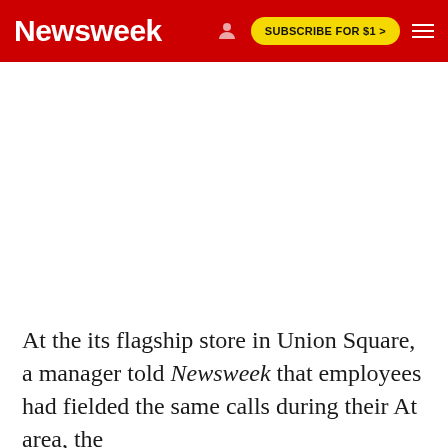Newsweek | SUBSCRIBE FOR $1 >
[Figure (other): White advertisement/image placeholder area below the navigation header]
At the its flagship store in Union Square, a manager told Newsweek that employees had fielded the same calls during their At area, the